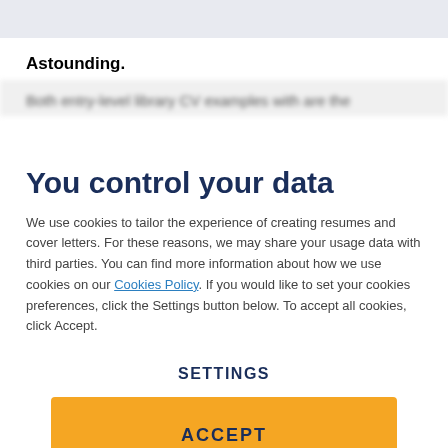Astounding.
Both entry-level library CV examples with are the
You control your data
We use cookies to tailor the experience of creating resumes and cover letters. For these reasons, we may share your usage data with third parties. You can find more information about how we use cookies on our Cookies Policy. If you would like to set your cookies preferences, click the Settings button below. To accept all cookies, click Accept.
SETTINGS
ACCEPT